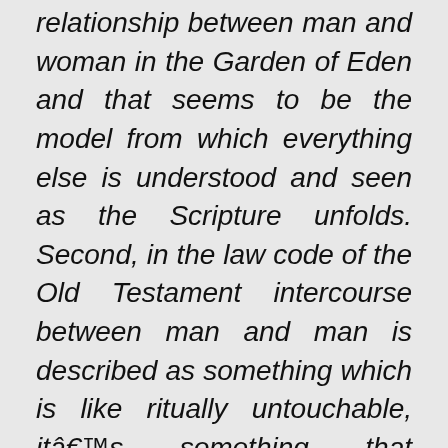relationship between man and woman in the Garden of Eden and that seems to be the model from which everything else is understood and seen as the Scripture unfolds. Second, in the law code of the Old Testament intercourse between man and man is described as something which is like ritually untouchable, itâ€™s something that pagans do and Jews, the covenant people, donâ€™t do it. Third, in the first chapter of Romans we have Paul taking for granted the argument that this is an example of human unfaithfulness to the order of nature. But I think those taken together explains why the Christian church has historically, thought as it has thought.